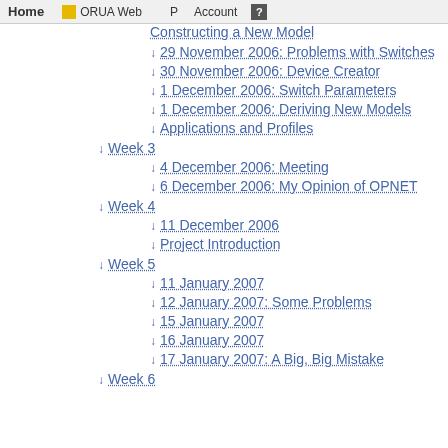Home  ORUA Web  P  Account  ?
Constructing a New Model (truncated)
29 November 2006: Problems with Switches
30 November 2006: Device Creator
1 December 2006: Switch Parameters
1 December 2006: Deriving New Models
Applications and Profiles
Week 3
4 December 2006: Meeting
6 December 2006: My Opinion of OPNET
Week 4
11 December 2006
Project Introduction
Week 5
11 January 2007
12 January 2007: Some Problems
15 January 2007
16 January 2007
17 January 2007: A Big, Big Mistake
Week 6